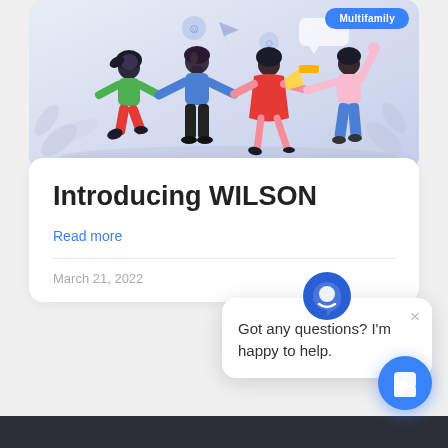[Figure (illustration): Illustration of four people holding hands and celebrating, on a light blue/lavender background with leaf decorations and emoji icons. A 'Multifamily' tag appears in the top right corner.]
Introducing WILSON
Read more
March 21, 2022
[Figure (screenshot): Chat popup widget with a blue house/person icon at the top, a close X button, and text: 'Got any questions? I'm happy to help.']
[Figure (other): Blue circular chat button with a speech bubble icon in the bottom right corner.]